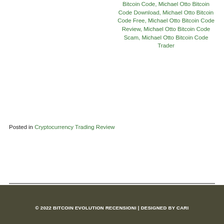Bitcoin Code, Michael Otto Bitcoin Code Download, Michael Otto Bitcoin Code Free, Michael Otto Bitcoin Code Review, Michael Otto Bitcoin Code Scam, Michael Otto Bitcoin Code Trader
Posted in Cryptocurrency Trading Review
Holly Willoughby Bitcoin Rush Review – Scam Or Legit?
Tokyo Sexwale Bitcoin Revolution Review – Scam Or Legit?
© 2022 BITCOIN EVOLUTION RECENSIONI | DESIGNED BY CARI